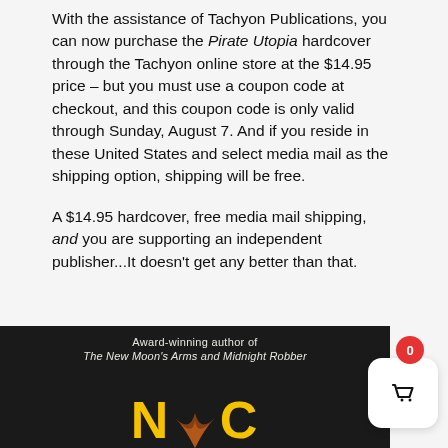With the assistance of Tachyon Publications, you can now purchase the Pirate Utopia hardcover through the Tachyon online store at the $14.95 price – but you must use a coupon code at checkout, and this coupon code is only valid through Sunday, August 7. And if you reside in these United States and select media mail as the shipping option, shipping will be free.
A $14.95 hardcover, free media mail shipping, and you are supporting an independent publisher...It doesn't get any better than that.
[Figure (photo): Bottom portion of a book cover on dark background showing 'Award-winning author of The New Moon's Arms and Midnight Robber' and partial large yellow title letters, with a shopping cart button overlay showing badge number 0]